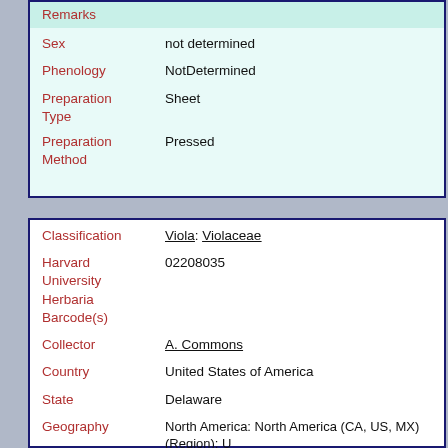| Field | Value |
| --- | --- |
| Remarks |  |
| Sex | not determined |
| Phenology | NotDetermined |
| Preparation Type | Sheet |
| Preparation Method | Pressed |
| Field | Value |
| --- | --- |
| Classification | Viola: Violaceae |
| Harvard University Herbaria Barcode(s) | 02208035 |
| Collector | A. Commons |
| Country | United States of America |
| State | Delaware |
| Geography | North America: North America (CA, US, MX) (Region): United States of America: Delaware |
| Locality | Centreville |
| Date | 1886 |